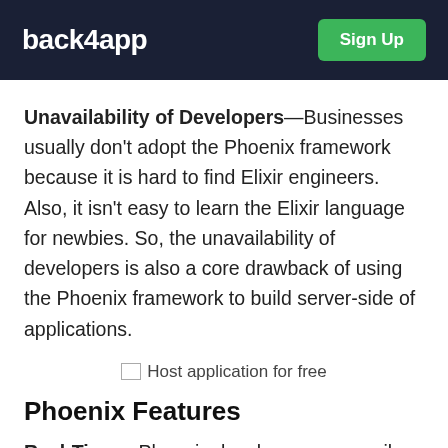back4app    Sign Up
Unavailability of Developers—Businesses usually don't adopt the Phoenix framework because it is hard to find Elixir engineers. Also, it isn't easy to learn the Elixir language for newbies. So, the unavailability of developers is also a core drawback of using the Phoenix framework to build server-side of applications.
[Figure (other): Broken image placeholder with alt text: Host application for free]
Phoenix Features
Real-Time – Phoenix developers can easily interact with users and write its connection...